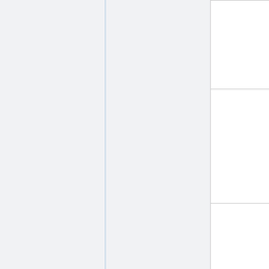|  | IPEX / Scepter 🔗 |
|  | Prime Conduit 🔗 |
|  | Rocky Mountain Colby Pipe 🔗 |